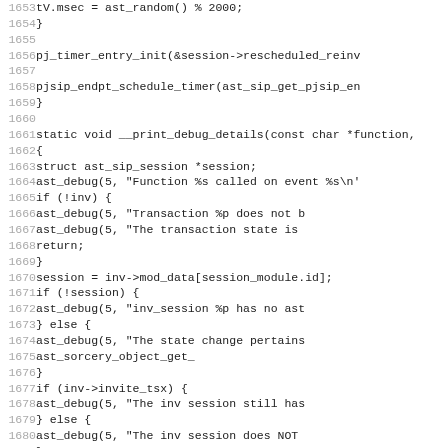[Figure (screenshot): Source code listing in monospace font showing C code lines 1653-1685, with line numbers in grey on the left and code text in dark/black on the right. The code includes timer functions, debug calls, and session management logic.]